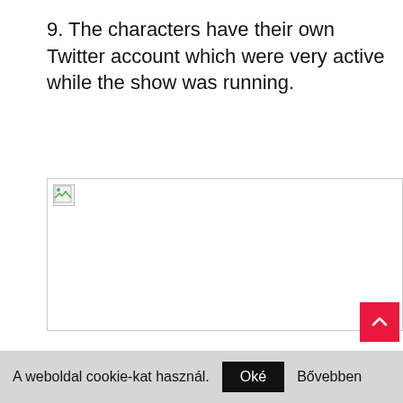9. The characters have their own Twitter account which were very active while the show was running.
[Figure (other): Broken image placeholder — a failed-to-load image shown as a small icon with a torn-image symbol inside a bordered rectangle]
A weboldal cookie-kat használ.
Oké
Bővebben